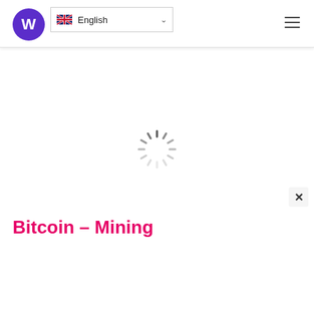[Figure (logo): Purple circular logo with white W letter]
[Figure (screenshot): English language selector dropdown with UK flag]
[Figure (other): Hamburger menu icon (three horizontal lines)]
[Figure (other): Loading spinner animation (circular dashed spinner)]
Bitcoin – Mining